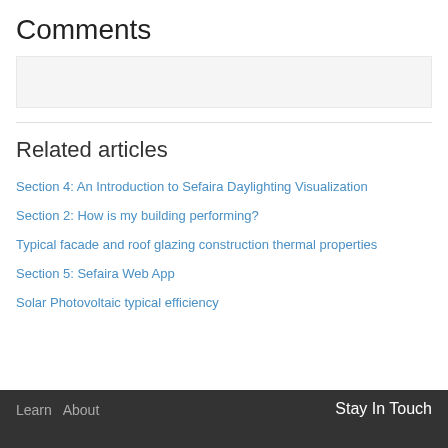Comments
Section 4: An Introduction to Sefaira Daylighting Visualization
Section 2: How is my building performing?
Typical facade and roof glazing construction thermal properties
Section 5: Sefaira Web App
Solar Photovoltaic typical efficiency
Learn   About   Stay In Touch